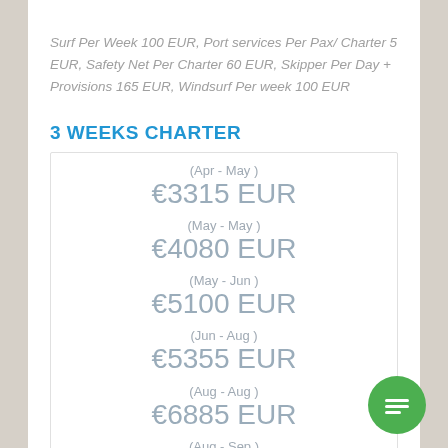Surf Per Week 100 EUR, Port services Per Pax/ Charter 5 EUR, Safety Net Per Charter 60 EUR, Skipper Per Day + Provisions 165 EUR, Windsurf Per week 100 EUR
3 WEEKS CHARTER
| Period | Price |
| --- | --- |
| (Apr - May ) | €3315 EUR |
| (May - May ) | €4080 EUR |
| (May - Jun ) | €5100 EUR |
| (Jun - Aug ) | €5355 EUR |
| (Aug - Aug ) | €6885 EUR |
| (Aug - Sep ) |  |